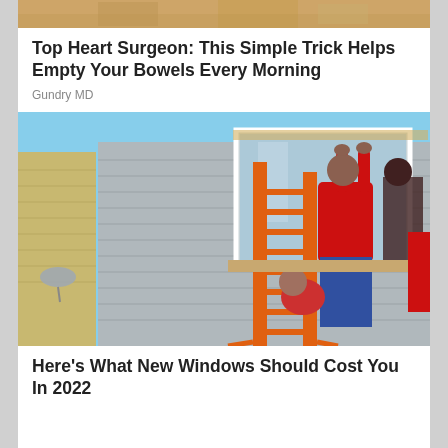[Figure (photo): Partially visible image at top, appears to be a cropped photo with warm golden/brown tones]
Top Heart Surgeon: This Simple Trick Helps Empty Your Bowels Every Morning
Gundry MD
[Figure (photo): Workers installing a window on the exterior of a house. A person in a red shirt is reaching up to install a large window while standing on an orange ladder. Another worker is visible crouching below. The house has gray vinyl siding.]
Here's What New Windows Should Cost You In 2022